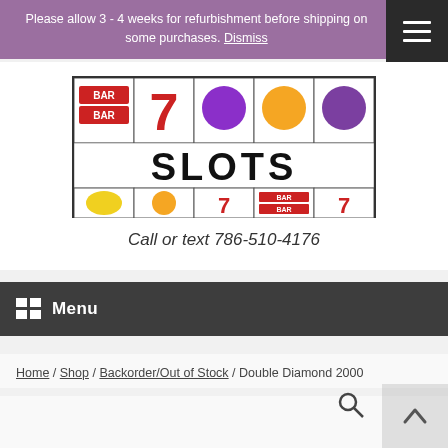Please allow 3 - 4 weeks for refurbishment before shipping on some purchases. Dismiss
[Figure (logo): SLOTS casino slot machine logo with fruit and 7 symbols]
Call or text 786-510-4176
Menu
Home / Shop / Backorder/Out of Stock / Double Diamond 2000